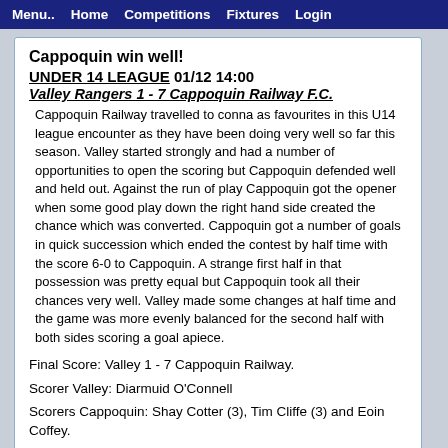Menu..  Home  Competitions  Fixtures  Login
Cappoquin win well!
UNDER 14 LEAGUE 01/12 14:00
Valley Rangers 1 - 7 Cappoquin Railway F.C.
Cappoquin Railway travelled to conna as favourites in this U14 league encounter as they have been doing very well so far this season. Valley started strongly and had a number of opportunities to open the scoring but Cappoquin defended well and held out. Against the run of play Cappoquin got the opener when some good play down the right hand side created the chance which was converted. Cappoquin got a number of goals in quick succession which ended the contest by half time with the score 6-0 to Cappoquin. A strange first half in that possession was pretty equal but Cappoquin took all their chances very well. Valley made some changes at half time and the game was more evenly balanced for the second half with both sides scoring a goal apiece.
Final Score: Valley 1 - 7 Cappoquin Railway.
Scorer Valley: Diarmuid O'Connell
Scorers Cappoquin: Shay Cotter (3), Tim Cliffe (3) and Eoin Coffey.
more..